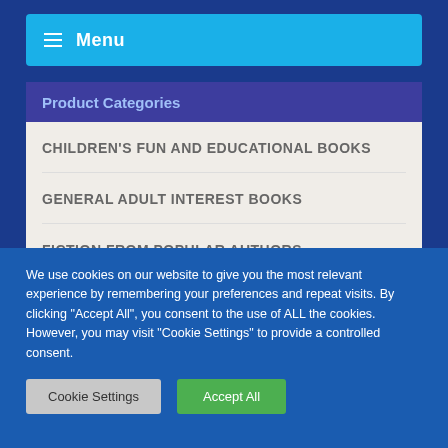≡ Menu
Product Categories
CHILDREN'S FUN AND EDUCATIONAL BOOKS
GENERAL ADULT INTEREST BOOKS
FICTION FROM POPULAR AUTHORS
WELSH BOOKS & GIFTS
We use cookies on our website to give you the most relevant experience by remembering your preferences and repeat visits. By clicking "Accept All", you consent to the use of ALL the cookies. However, you may visit "Cookie Settings" to provide a controlled consent.
Cookie Settings | Accept All